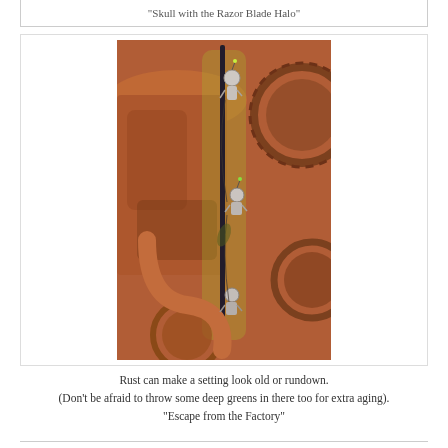"Skull with the Razor Blade Halo"
[Figure (illustration): A detailed illustration showing small robot-like figures climbing along a vertical pole or rod amidst large rusty metal machinery, gears, pipes, and industrial equipment rendered in warm rust, copper, and orange tones with hints of green.]
Rust can make a setting look old or rundown.
(Don't be afraid to throw some deep greens in there too for extra aging).
"Escape from the Factory"